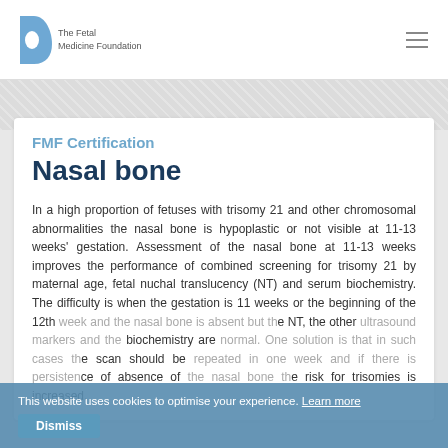The Fetal Medicine Foundation
FMF Certification
Nasal bone
In a high proportion of fetuses with trisomy 21 and other chromosomal abnormalities the nasal bone is hypoplastic or not visible at 11-13 weeks' gestation. Assessment of the nasal bone at 11-13 weeks improves the performance of combined screening for trisomy 21 by maternal age, fetal nuchal translucency (NT) and serum biochemistry. The difficulty is when the gestation is 11 weeks or the beginning of the 12th week and the nasal bone is absent but the NT, the other ultrasound markers and the biochemistry are normal. One solution is that in such cases the scan should be repeated in one week and if there is persistence of absence of the nasal bone the risk for trisomies is increased.
This website uses cookies to optimise your experience. Learn more
Dismiss